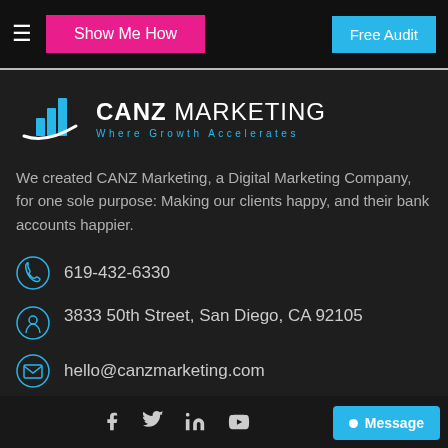Show Me How | Free Audit
[Figure (logo): CANZ Marketing logo with bar chart icon and swoosh, tagline: Where Growth Accelerates]
We created CANZ Marketing, a Digital Marketing Company, for one sole purpose: Making our clients happy, and their bank accounts happier.
619-432-6330
3833 50th Street, San Diego, CA 92105
hello@canzmarketing.com
Social icons: Facebook, Twitter, LinkedIn, YouTube | Message